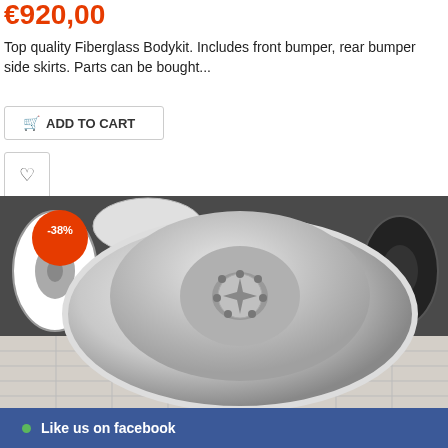€920,00
Top quality Fiberglass Bodykit.  Includes front bumper, rear bumper side skirts. Parts can be bought...
ADD TO CART
[Figure (photo): A silver Mercedes-Benz alloy wheel displayed in a wheel shop, with a red -38% discount badge in the top-left corner. Multiple wheels visible in the background.]
Like us on facebook